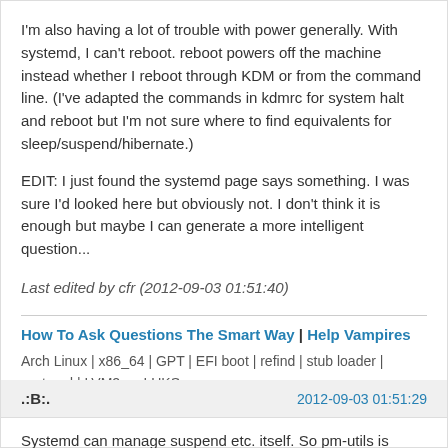I'm also having a lot of trouble with power generally. With systemd, I can't reboot. reboot powers off the machine instead whether I reboot through KDM or from the command line. (I've adapted the commands in kdmrc for system halt and reboot but I'm not sure where to find equivalents for sleep/suspend/hibernate.)
EDIT: I just found the systemd page says something. I was sure I'd looked here but obviously not. I don't think it is enough but maybe I can generate a more intelligent question...
Last edited by cfr (2012-09-03 01:51:40)
How To Ask Questions The Smart Way | Help Vampires
Arch Linux | x86_64 | GPT | EFI boot | refind | stub loader | systemd | LVM2 on LUKS
Lenovo x270 | Intel(R) Core(TM) i5-7200U CPU @ 2.50GHz | Intel Corporation Wireless 8265 / 8275 | US keyboard with Euro | 512G NVMe INTEL SSDPEKKF512G7L
.:B:.
2012-09-03 01:51:29
Systemd can manage suspend etc. itself. So pm-utils is redundant. I